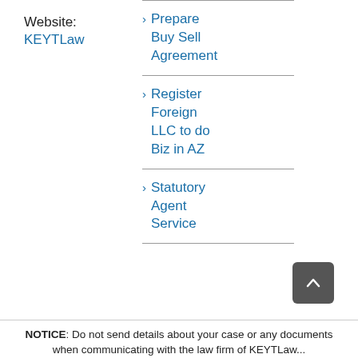Website:
KEYTLaw
Prepare Buy Sell Agreement
Register Foreign LLC to do Biz in AZ
Statutory Agent Service
NOTICE: Do not send details about your case or any documents when communicating with the law firm of KEYTLaw...